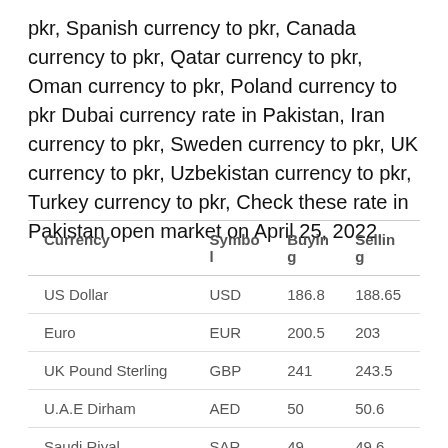pkr, Spanish currency to pkr, Canada currency to pkr, Qatar currency to pkr, Oman currency to pkr, Poland currency to pkr Dubai currency rate in Pakistan, Iran currency to pkr, Sweden currency to pkr, UK currency to pkr, Uzbekistan currency to pkr, Turkey currency to pkr, Check these rate in Pakistan open market on April 25, 2022.
| Currency | Symbol | Buying | Selling |
| --- | --- | --- | --- |
| US Dollar | USD | 186.8 | 188.65 |
| Euro | EUR | 200.5 | 203 |
| UK Pound Sterling | GBP | 241 | 243.5 |
| U.A.E Dirham | AED | 50 | 50.6 |
| Saudi Riyal | SAR | 49 | 49.6 |
| Australian Dollar | AUD | 132 | 134.5 |